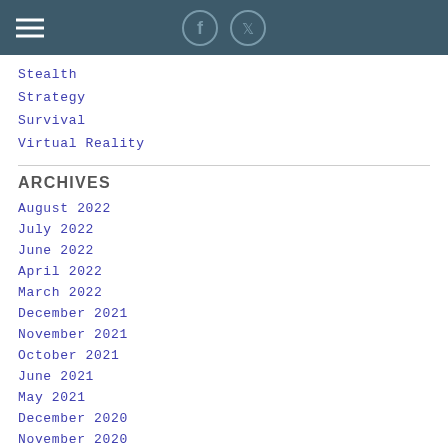Header with hamburger menu and social icons (Facebook, Twitter)
Stealth
Strategy
Survival
Virtual Reality
ARCHIVES
August 2022
July 2022
June 2022
April 2022
March 2022
December 2021
November 2021
October 2021
June 2021
May 2021
December 2020
November 2020